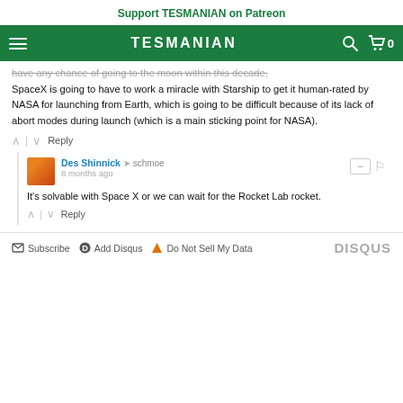Support TESMANIAN on Patreon
TESMANIAN
have any chance of going to the moon within this decade, SpaceX is going to have to work a miracle with Starship to get it human-rated by NASA for launching from Earth, which is going to be difficult because of its lack of abort modes during launch (which is a main sticking point for NASA).
Reply
Des Shinnick → schmoe
8 months ago
It's solvable with Space X or we can wait for the Rocket Lab rocket.
Reply
Subscribe  Add Disqus  Do Not Sell My Data  DISQUS